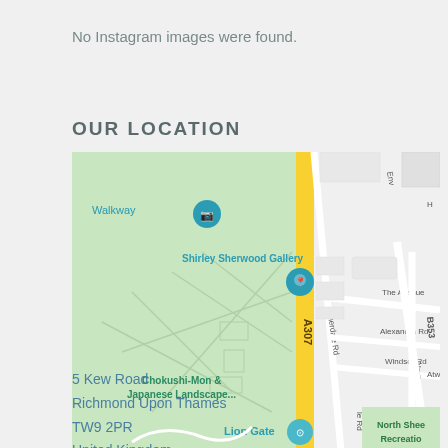No Instagram images were found.
OUR LOCATION
[Figure (map): Google Maps screenshot showing Shirley Sherwood Gallery area near Kew Road (A307), Richmond. Shows Walkway, Chokushi-Mon & Japanese Landscape..., Lion Gate, Ennerdale Rd, The Avenue, Alexandra Rd, Windsor Rd, North Rd, B353, North Sheen Recreation area.]
5 Kew Road
Richmond Upon Thames
TW9 2PR
United Kingdom